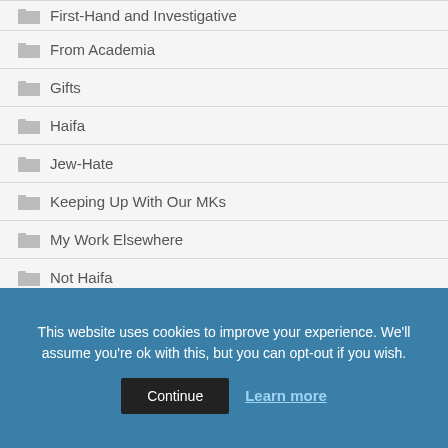First-Hand and Investigative
From Academia
Gifts
Haifa
Jew-Hate
Keeping Up With Our MKs
My Work Elsewhere
Not Haifa
This website uses cookies to improve your experience. We'll assume you're ok with this, but you can opt-out if you wish.
Continue  Learn more